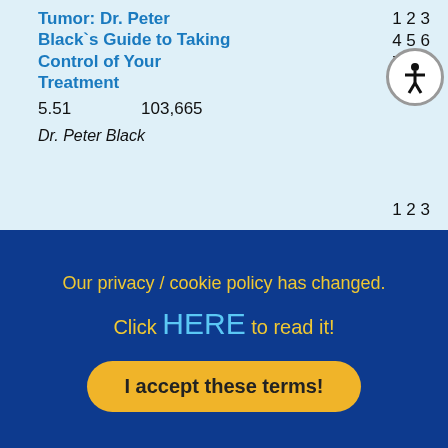Living with a Brain Tumor: Dr. Peter Black`s Guide to Taking Control of Your Treatment
5.51   103,665   1 2 3 4 5 6 7 8 9 10
Dr. Peter Black
1 2 3
Our privacy / cookie policy has changed.
Click HERE to read it!
I accept these terms!